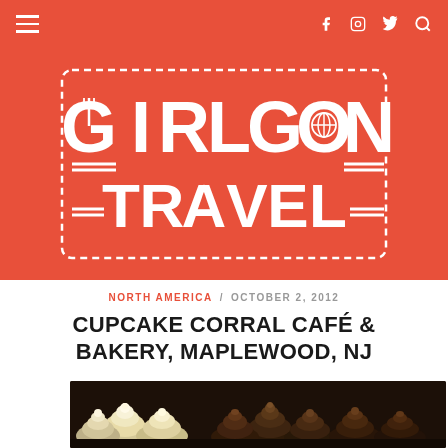Girl Gone Travel — navigation header with hamburger menu and social icons
[Figure (logo): Girl Gone Travel logo — white text on coral/red-orange background with dashed border rectangle. Large bold text reads GIRL GONE TRAVEL with travel-themed icon embellishments (fork in G, globe in O, airplane in A).]
NORTH AMERICA / OCTOBER 2, 2012
CUPCAKE CORRAL CAFÉ & BAKERY, MAPLEWOOD, NJ
[Figure (photo): Close-up photo of multiple mini cupcakes with swirled frosting — cream/white frosting and chocolate/brown frosting cupcakes arranged together.]